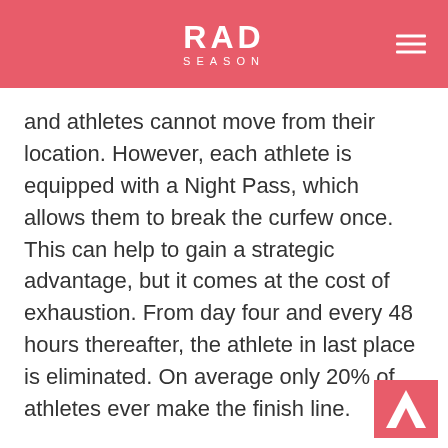RAD SEASON
and athletes cannot move from their location. However, each athlete is equipped with a Night Pass, which allows them to break the curfew once. This can help to gain a strategic advantage, but it comes at the cost of exhaustion. From day four and every 48 hours thereafter, the athlete in last place is eliminated. On average only 20% of athletes ever make the finish line.